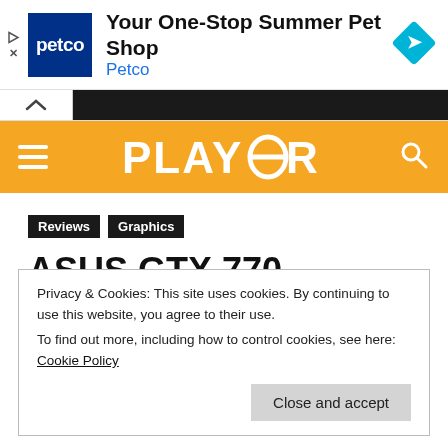[Figure (screenshot): Petco advertisement banner with logo, headline 'Your One-Stop Summer Pet Shop', brand name 'Petco', and a blue navigation diamond icon]
[Figure (logo): Player8 website logo on orange header bar with hamburger menu and search icon]
Reviews
Graphics
ASUS GTX 770 DirectCU II OC Review
Privacy & Cookies: This site uses cookies. By continuing to use this website, you agree to their use.
To find out more, including how to control cookies, see here: Cookie Policy
Close and accept